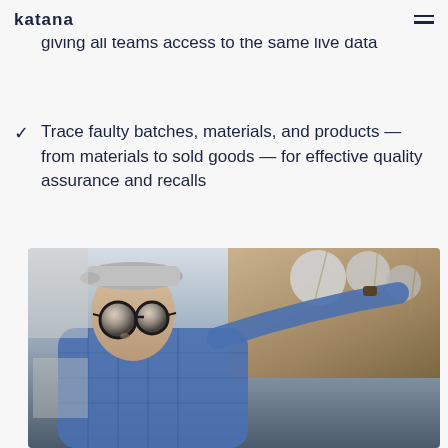katana
Quickly locate items across multiple warehouses, giving all teams access to the same live data
Trace faulty batches, materials, and products — from materials to sold goods — for effective quality assurance and recalls
[Figure (photo): A person wearing a flat cap and round glasses, dressed in a blue plaid shirt, reaching up with one hand toward shelving or storage equipment in what appears to be a workshop or warehouse setting.]